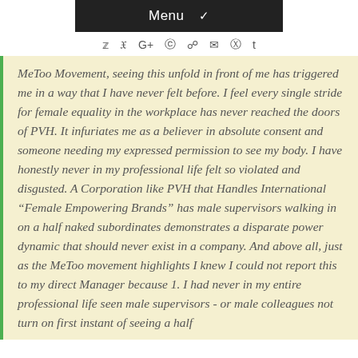Menu
MeToo Movement, seeing this unfold in front of me has triggered me in a way that I have never felt before. I feel every single stride for female equality in the workplace has never reached the doors of PVH. It infuriates me as a believer in absolute consent and someone needing my expressed permission to see my body. I have honestly never in my professional life felt so violated and disgusted. A Corporation like PVH that Handles International “Female Empowering Brands” has male supervisors walking in on a half naked subordinates demonstrates a disparate power dynamic that should never exist in a company. And above all, just as the MeToo movement highlights I knew I could not report this to my direct Manager because 1. I had never in my entire professional life seen male supervisors - or male colleagues not turn on first instant of seeing a half